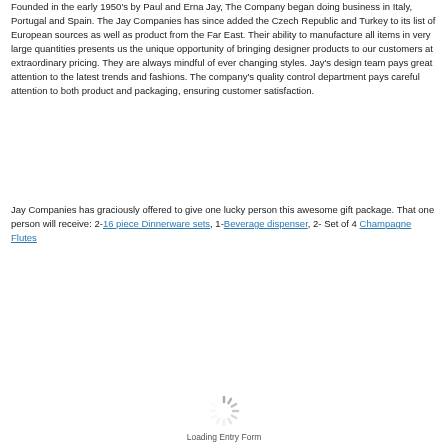Founded in the early 1950's by Paul and Erna Jay, The Company began doing business in Italy, Portugal and Spain. The Jay Companies has since added the Czech Republic and Turkey to its list of European sources as well as product from the Far East. Their ability to manufacture all items in very large quantities presents us the unique opportunity of bringing designer products to our customers at extraordinary pricing. They are always mindful of ever changing styles. Jay's design team pays great attention to the latest trends and fashions. The company's quality control department pays careful attention to both product and packaging, ensuring customer satisfaction.
Jay Companies has graciously offered to give one lucky person this awesome gift package. That one person will receive: 2-16 piece Dinnerware sets, 1-Beverage dispenser, 2- Set of 4 Champagne Flutes
[Figure (other): Loading spinner animation (circular spinner graphic)]
Loading Entry Form